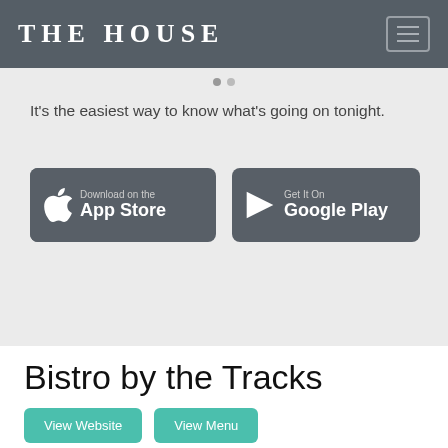THE HOUSE
It's the easiest way to know what's going on tonight.
[Figure (screenshot): Download on the App Store button (dark grey rounded rectangle with Apple logo)]
[Figure (screenshot): Get It On Google Play button (dark grey rounded rectangle with Play Store logo)]
Bistro by the Tracks
View Website
View Menu
Quick Facts